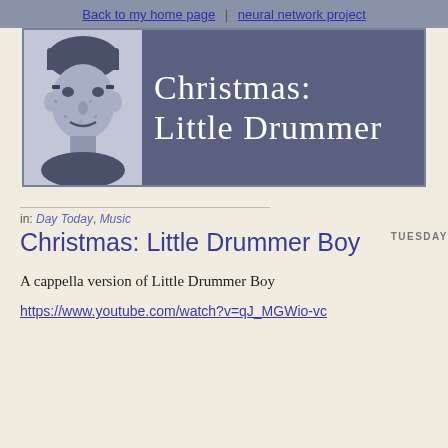Back to my home page | neural network project
[Figure (illustration): Blog banner with a pixelated/halftone portrait photo on the left and dark blue-grey background with white text reading 'Christmas: Little Drummer' on the right]
TUESDAY
in: Day Today, Music
Christmas: Little Drummer Boy
A cappella version of Little Drummer Boy
https://www.youtube.com/watch?v=qJ_MGWio-vc